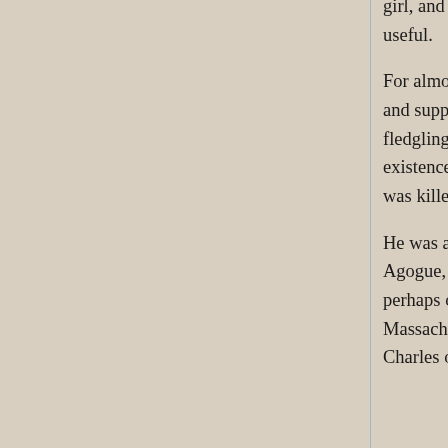girl, and his future looked bright – until a Ventrue decided that he would be useful.

For almost three decades, Bryce remained under his Sire's accounting, serving and supporting Khristenko's needs and political ambitions at the same time as the fledgling learned about the Clan and the Camarilla. For the second time in his existence, his world was rocked by the unexpected when, in 2014, Bryce's sire was killed by enemies within the Clan.

He was adopted by Tara O'Brien, who saw him through the completion of his Agogue, but he did not become publicly active in the Camarilla until 2018 - perhaps out of fear of his sire's enemies. When the Domain of Cambridge, Massachusetts was established by Prince Alshaya, Bryce sailed a Yacht up the Charles one evening, conducted a few meetings with Harpy,